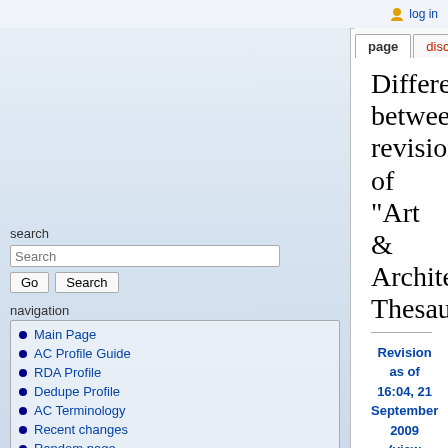log in
Difference between revisions of "Art & Architecture Thesaurus"
Revision as of 16:04, 21 September 2009 (view source) WikiSysop (Talk | contribs) ← Older edit
Revision as of 16:06, 21 September 2009 (view source) WikiSysop (Talk | contribs) (→Examples) Newer edit →
Line 12:
001 __ 300015529
001 __ 300015529
155 __ <font color="#3366FF">$a </font>bird<nowiki>'
155 __ <font color="#3366FF">$a </font>bird<nowiki>'
Main Page
AC Profile Guide
RDA Profile
Dedupe Profile
AC Terminology
Recent changes
Random page
Help
General AC